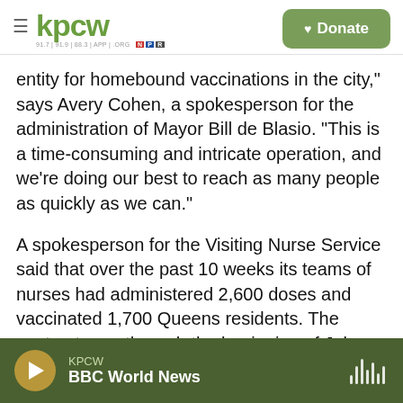KPCW — 91.7 | 91.9 | 88.3 | APP | .ORG — NPR — Donate
entity for homebound vaccinations in the city," says Avery Cohen, a spokesperson for the administration of Mayor Bill de Blasio. "This is a time-consuming and intricate operation, and we're doing our best to reach as many people as quickly as we can."
A spokesperson for the Visiting Nurse Service said that over the past 10 weeks its teams of nurses had administered 2,600 doses and vaccinated 1,700 Queens residents. The contract runs through the beginning of July.
KPCW — BBC World News